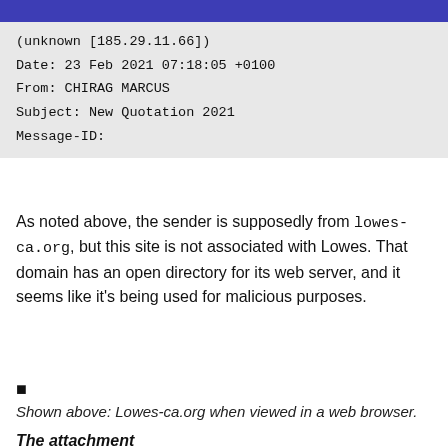(unknown [185.29.11.66])
Date: 23 Feb 2021 07:18:05 +0100
From: CHIRAG MARCUS
Subject: New Quotation 2021
Message-ID:
As noted above, the sender is supposedly from lowes-ca.org, but this site is not associated with Lowes. That domain has an open directory for its web server, and it seems like it's being used for malicious purposes.
▪
Shown above: Lowes-ca.org when viewed in a web browser.
The attachment